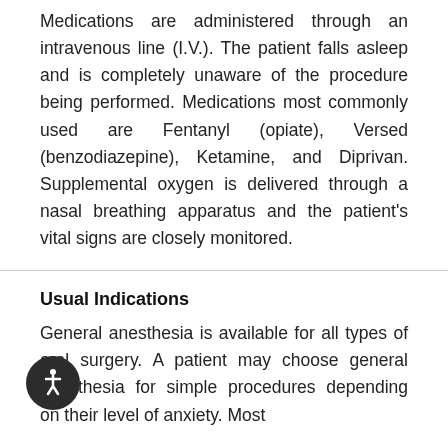Medications are administered through an intravenous line (I.V.). The patient falls asleep and is completely unaware of the procedure being performed. Medications most commonly used are Fentanyl (opiate), Versed (benzodiazepine), Ketamine, and Diprivan. Supplemental oxygen is delivered through a nasal breathing apparatus and the patient's vital signs are closely monitored.
Usual Indications
General anesthesia is available for all types of oral surgery. A patient may choose general anesthesia for simple procedures depending on their level of anxiety. Most